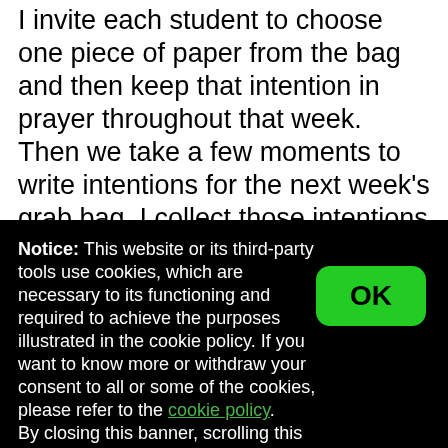I invite each student to choose one piece of paper from the bag and then keep that intention in prayer throughout that week. Then we take a few moments to write intentions for the next week's grab bag. I collect those intentions and add them to the bag for the next session. We start this activity on the last session before Advent and keep pulling prayers from the grab bag until we break for Christmas. The grab bag is kept on our prayer table through the season.
Notice: This website or its third-party tools use cookies, which are necessary to its functioning and required to achieve the purposes illustrated in the cookie policy. If you want to know more or withdraw your consent to all or some of the cookies, please refer to the cookie policy. By closing this banner, scrolling this page, clicking a link or continuing to browse otherwise, you agree to the use of cookies.